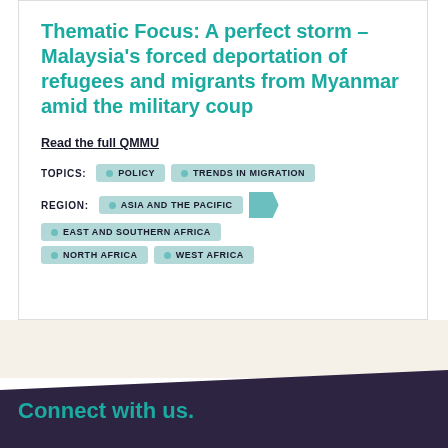Thematic Focus: A perfect storm – Malaysia's forced deportation of refugees and migrants from Myanmar amid the military coup
Read the full QMMU
TOPICS: POLICY   TRENDS IN MIGRATION
REGION: ASIA AND THE PACIFIC   EAST AND SOUTHERN AFRICA   NORTH AFRICA   WEST AFRICA
Connect with us.